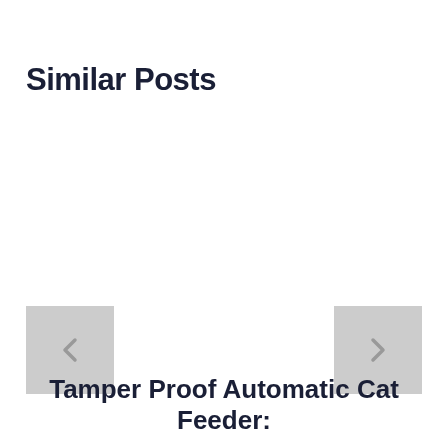Similar Posts
[Figure (other): Left navigation arrow button (chevron left) with light gray background]
[Figure (other): Right navigation arrow button (chevron right) with light gray background]
Tamper Proof Automatic Cat Feeder: